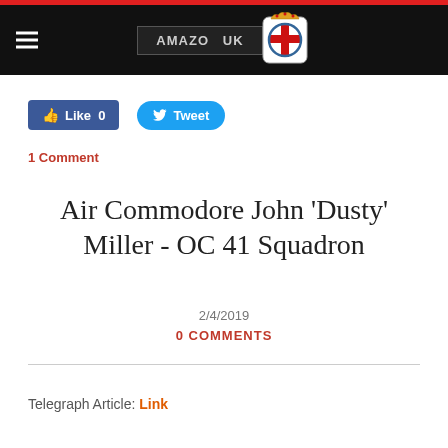AMAZONS.UK (navigation header with logo)
Like 0   Tweet
1 Comment
Air Commodore John ‘Dusty’ Miller - OC 41 Squadron
2/4/2019
0 COMMENTS
Telegraph Article: Link